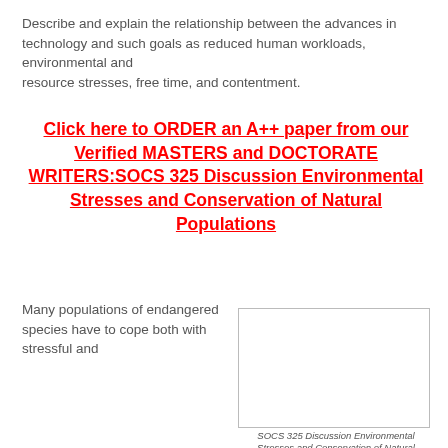Describe and explain the relationship between the advances in technology and such goals as reduced human workloads, environmental and resource stresses, free time, and contentment.
Click here to ORDER an A++ paper from our Verified MASTERS and DOCTORATE WRITERS:SOCS 325 Discussion Environmental Stresses and Conservation of Natural Populations
Many populations of endangered species have to cope both with stressful and
[Figure (other): Empty white box with border, placeholder image area]
SOCS 325 Discussion Environmental Stresses and Conservation of Natural Populations